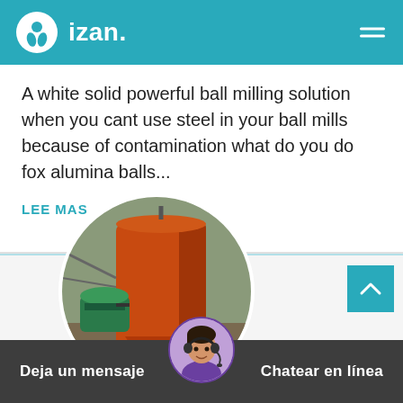izan.
A white solid powerful ball milling solution when you cant use steel in your ball mills because of contamination what do you do fox alumina balls...
LEE MAS
[Figure (photo): Circular-cropped photo of a large orange industrial ball mill machine with a green electric motor, on a construction/industrial site]
[Figure (photo): Chat support avatar: woman wearing a headset, smiling]
Deja un mensaje   Chatear en línea